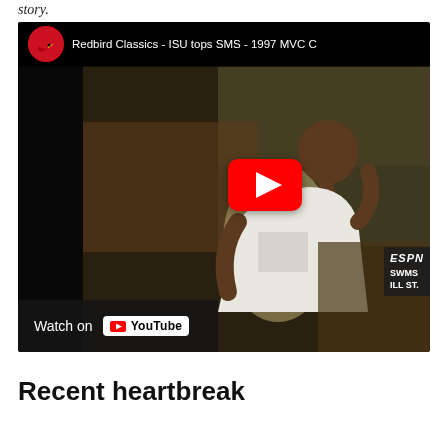story.
[Figure (screenshot): YouTube video thumbnail showing a basketball player mid-game. Video title: 'Redbird Classics - ISU tops SMS - 1997 MVC C'. Shows ESPN scoreboard overlay with SWMS and ILL ST. Watch on YouTube button visible.]
Recent heartbreak